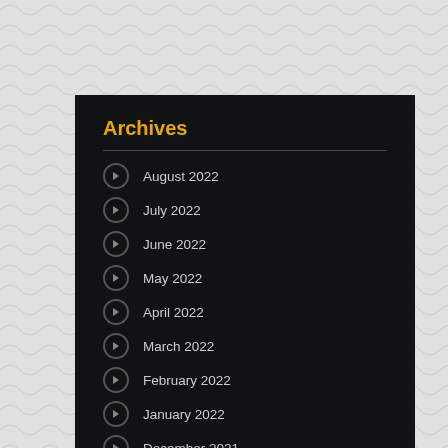Archives
August 2022
July 2022
June 2022
May 2022
April 2022
March 2022
February 2022
January 2022
December 2021
October 2021